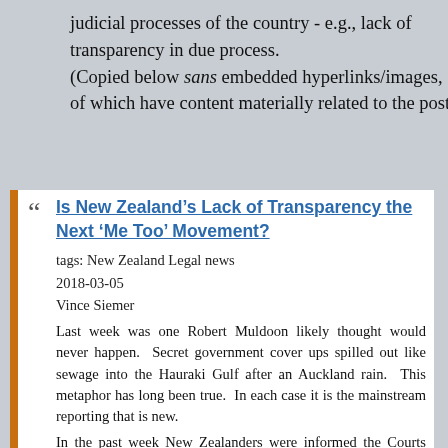judicial processes of the country - e.g., lack of transparency in due process.
(Copied below sans embedded hyperlinks/images, some of which have content materially related to the post.)
Is New Zealand’s Lack of Transparency the Next ‘Me Too’ Movement?
tags: New Zealand Legal news
2018-03-05
Vince Siemer
Last week was one Robert Muldoon likely thought would never happen. Secret government cover ups spilled out like sewage into the Hauraki Gulf after an Auckland rain. This metaphor has long been true. In each case it is the mainstream reporting that is new.
In the past week New Zealanders were informed the Courts hold secret hearings that are additionally not listed on official court lists, and that an assassination attempt on Queen Elizabeth II occurred in Dunedin in 1981.